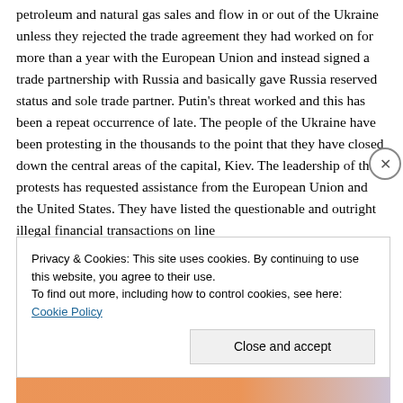petroleum and natural gas sales and flow in or out of the Ukraine unless they rejected the trade agreement they had worked on for more than a year with the European Union and instead signed a trade partnership with Russia and basically gave Russia reserved status and sole trade partner. Putin's threat worked and this has been a repeat occurrence of late. The people of the Ukraine have been protesting in the thousands to the point that they have closed down the central areas of the capital, Kiev. The leadership of the protests has requested assistance from the European Union and the United States. They have listed the questionable and outright illegal financial transactions on line
Privacy & Cookies: This site uses cookies. By continuing to use this website, you agree to their use.
To find out more, including how to control cookies, see here: Cookie Policy